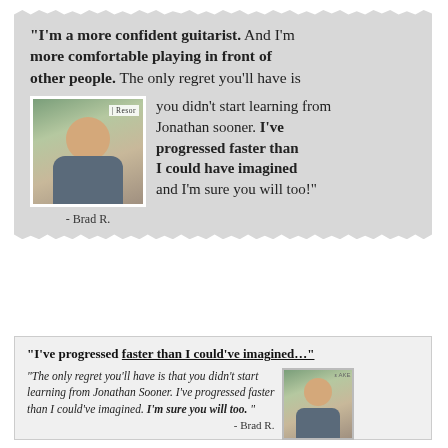[Figure (photo): Testimonial card with torn paper edges on grey background. Contains a quote from Brad R. about being a more confident guitarist, with a photo of Brad R. smiling outdoors.]
“I’m a more confident guitarist. And I’m more comfortable playing in front of other people. The only regret you’ll have is you didn’t start learning from Jonathan sooner. I’ve progressed faster than I could have imagined and I’m sure you will too!” - Brad R.
[Figure (photo): Second testimonial card on light grey background with border. Contains a bold headline quote and italic body quote from Brad R. with a smaller photo of Brad R.]
“I’ve progressed faster than I could’ve imagined…” “The only regret you’ll have is that you didn’t start learning from Jonathan Sooner. I’ve progressed faster than I could’ve imagined. I’m sure you will too. ” - Brad R.